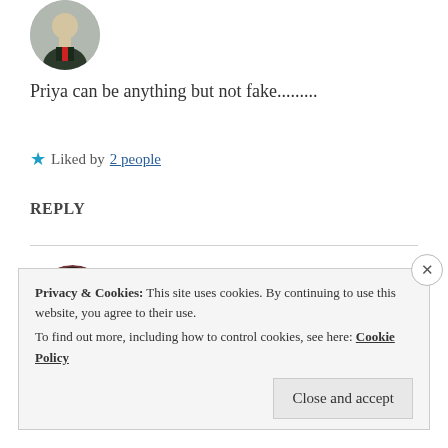[Figure (photo): Circular avatar image of a man in suit with red tie]
Priya can be anything but not fake.........
★ Liked by 2 people
REPLY
[Figure (photo): Circular avatar of a person with dark hair against dark background]
ZEALOUS HOMO SAPIENS
17 May 2019 at 12:27 pm
Privacy & Cookies: This site uses cookies. By continuing to use this website, you agree to their use.
To find out more, including how to control cookies, see here: Cookie Policy
Close and accept